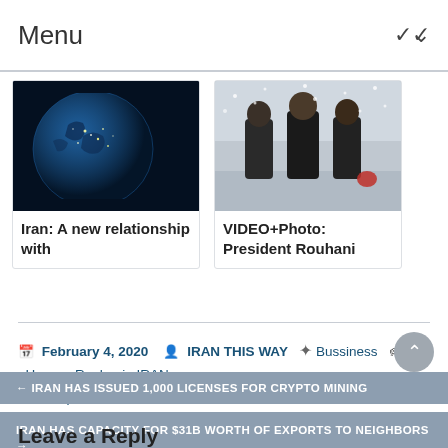Menu
[Figure (photo): Satellite/globe image of Earth at night with blue lighting]
Iran: A new relationship with
[Figure (photo): Photo of President Rouhani with other officials in snowy outdoor setting]
VIDEO+Photo: President Rouhani
February 4, 2020  IRAN THIS WAY  Bussiness  EU , Hassan Rouhani , IRAN , Josep Borrell
← IRAN HAS ISSUED 1,000 LICENSES FOR CRYPTO MINING
IRAN HAS CAPACITY FOR $31B WORTH OF EXPORTS TO NEIGHBORS →
Leave a Reply